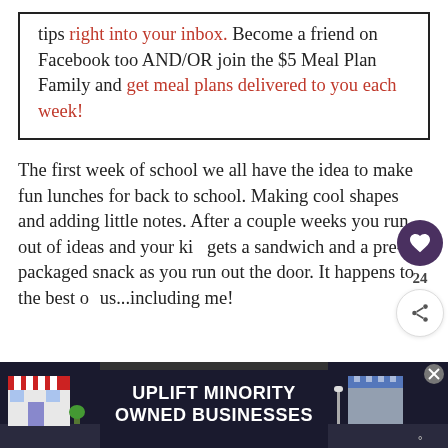tips right into your inbox. Become a friend on Facebook too AND/OR join the $5 Meal Plan Family and get meal plans delivered to you each week!
The first week of school we all have the idea to make fun lunches for back to school. Making cool shapes and adding little notes. After a couple weeks you run out of ideas and your kid gets a sandwich and a pre-packaged snack as you run out the door. It happens to the best of us...including me!
[Figure (infographic): Advertisement banner: UPLIFT MINORITY OWNED BUSINESSES with cartoon storefront imagery on dark blue background]